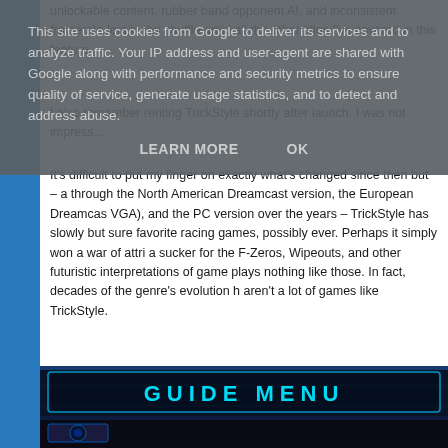This site uses cookies from Google to deliver its services and to analyze traffic. Your IP address and user-agent are shared with Google along with performance and security metrics to ensure quality of service, generate usage statistics, and to detect and address abuse.
LEARN MORE   OK
unlockable content, rubber band opponent AI, and inconsistent framerate lost in the shuffle amid all the other titles I've covered in this feature.
I also remember renting TrickStyle shortly after launch. I was not impress...
It's difficult to put my finger on exactly what's changed since then but – a through the North American Dreamcast version, the European Dreamcas VGA), and the PC version over the years – TrickStyle has slowly but sure favorite racing games, possibly ever. Perhaps it simply won a war of attri a sucker for the F-Zeros, Wipeouts, and other futuristic interpretations of game plays nothing like those. In fact, decades of the genre's evolution h aren't a lot of games like TrickStyle.
[Figure (screenshot): Game screenshot showing 'GUIDE MENU' text in cyan/teal stylized font on dark blue background]